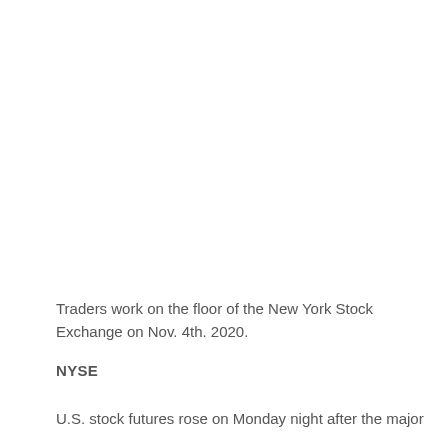[Figure (photo): Photograph of traders working on the floor of the New York Stock Exchange on Nov. 4th, 2020. Image area is blank/white in this rendering.]
Traders work on the floor of the New York Stock Exchange on Nov. 4th. 2020.
NYSE
U.S. stock futures rose on Monday night after the major